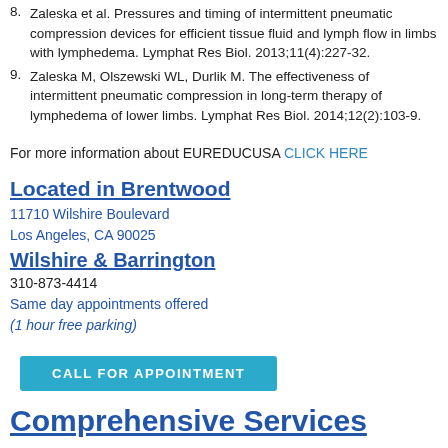8. Zaleska et al. Pressures and timing of intermittent pneumatic compression devices for efficient tissue fluid and lymph flow in limbs with lymphedema. Lymphat Res Biol. 2013;11(4):227-32.
9. Zaleska M, Olszewski WL, Durlik M. The effectiveness of intermittent pneumatic compression in long-term therapy of lymphedema of lower limbs. Lymphat Res Biol. 2014;12(2):103-9.
For more information about EUREDUCUSA CLICK HERE
Located in Brentwood
11710 Wilshire Boulevard
Los Angeles, CA 90025
Wilshire & Barrington
310-873-4414
Same day appointments offered
(1 hour free parking)
CALL FOR APPOINTMENT
Comprehensive Services